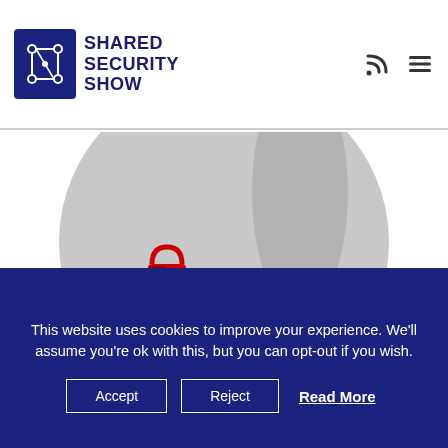Shared Security Show
[Figure (illustration): The Shared Security Podcast Weekly Blaze logo inside a grey circle, with a red padlock icon and bold black and red text. Background shows a hand/headphones silhouette.]
This website uses cookies to improve your experience. We'll assume you're ok with this, but you can opt-out if you wish.
Accept   Reject   Read More